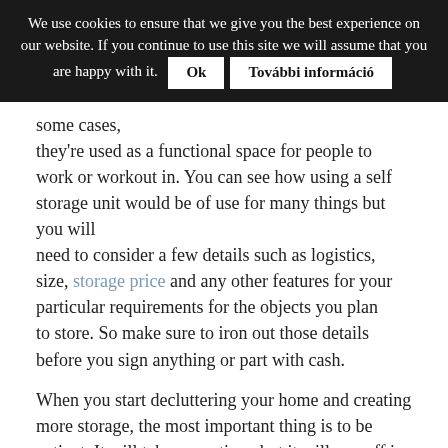We use cookies to ensure that we give you the best experience on our website. If you continue to use this site we will assume that you are happy with it.  Ok  További információ
some cases, they're used as a functional space for people to work or workout in. You can see how using a self storage unit would be of use for many things but you will need to consider a few details such as logistics, size, storage price and any other features for your particular requirements for the objects you plan to store. So make sure to iron out those details before you sign anything or part with cash.
When you start decluttering your home and creating more storage, the most important thing is to be patient. It will take some time, but it will pay off in the end – you will get a bigger, cleaner home.